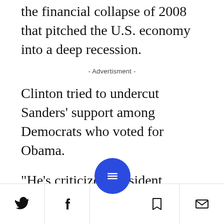the financial collapse of 2008 that pitched the U.S. economy into a deep recession.
- Advertisment -
Clinton tried to undercut Sanders' support among Democrats who voted for Obama.
"He's criticized President Obama for taking donations from Wall Street. And President Obama has led our country out of the Great Recession.
"Senator Sanders called him weak, disappointing, he eve... 2011 publicly sought